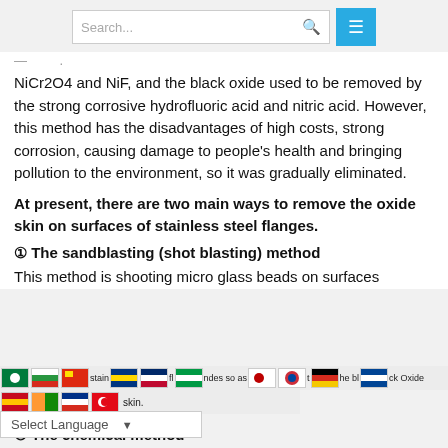Search...
NiCr2O4 and NiF, and the black oxide used to be removed by the strong corrosive hydrofluoric acid and nitric acid. However, this method has the disadvantages of high costs, strong corrosion, causing damage to people's health and bringing pollution to the environment, so it was gradually eliminated.
At present, there are two main ways to remove the oxide skin on surfaces of stainless steel flanges.
① The sandblasting (shot blasting) method
This method is shooting micro glass beads on surfaces of stainless steel flanges so as to remove the black oxide skin.
② The chemical method